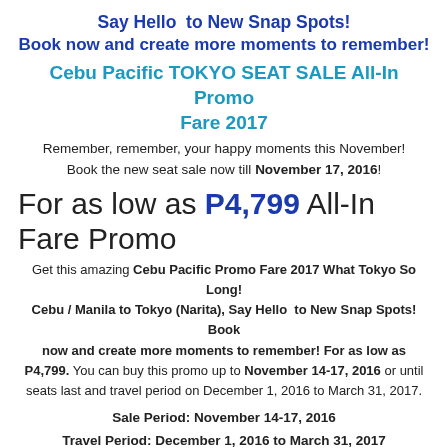Say Hello  to New Snap Spots!
Book now and create more moments to remember!
Cebu Pacific TOKYO SEAT SALE All-In Promo Fare 2017
Remember, remember, your happy moments this November!
Book the new seat sale now till November 17, 2016!
For as low as P4,799 All-In Fare Promo
Get this amazing Cebu Pacific Promo Fare 2017 What Tokyo So Long! Cebu / Manila to Tokyo (Narita), Say Hello  to New Snap Spots! Book now and create more moments to remember! For as low as P4,799. You can buy this promo up to November 14-17, 2016 or until seats last and travel period on December 1, 2016 to March 31, 2017.
Sale Period: November 14-17, 2016
Travel Period: December 1, 2016 to March 31, 2017